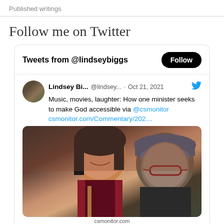Published writings
Follow me on Twitter
[Figure (screenshot): Embedded Twitter widget showing tweets from @lindseybiggs with a Follow button. A tweet by Lindsey Bi... @lindsey... from Oct 21, 2021 reads: 'Music, movies, laughter: How one minister seeks to make God accessible via @csmonitor csmonitor.com/Commentary/202...' with a photo of two smiling people.]